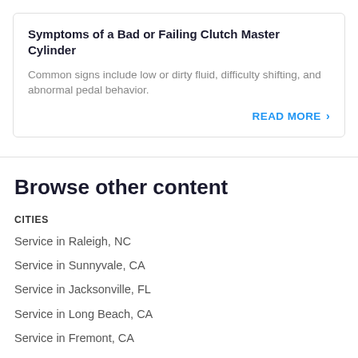Symptoms of a Bad or Failing Clutch Master Cylinder
Common signs include low or dirty fluid, difficulty shifting, and abnormal pedal behavior.
READ MORE ›
Browse other content
CITIES
Service in Raleigh, NC
Service in Sunnyvale, CA
Service in Jacksonville, FL
Service in Long Beach, CA
Service in Fremont, CA